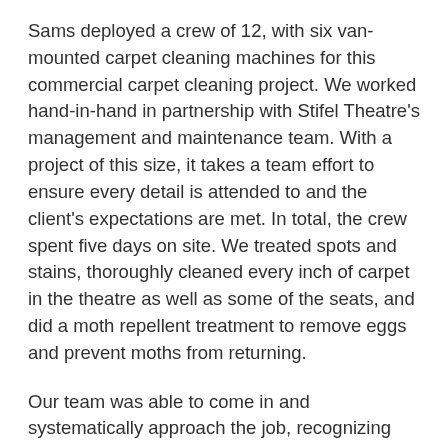Sams deployed a crew of 12, with six van-mounted carpet cleaning machines for this commercial carpet cleaning project. We worked hand-in-hand in partnership with Stifel Theatre's management and maintenance team. With a project of this size, it takes a team effort to ensure every detail is attended to and the client's expectations are met. In total, the crew spent five days on site. We treated spots and stains, thoroughly cleaned every inch of carpet in the theatre as well as some of the seats, and did a moth repellent treatment to remove eggs and prevent moths from returning.
Our team was able to come in and systematically approach the job, recognizing and treating areas that needed additional attention to remove stains as we went. We take an immense amount of pride in our work every day and to be trusted on a job like this is extra special. The Stifel